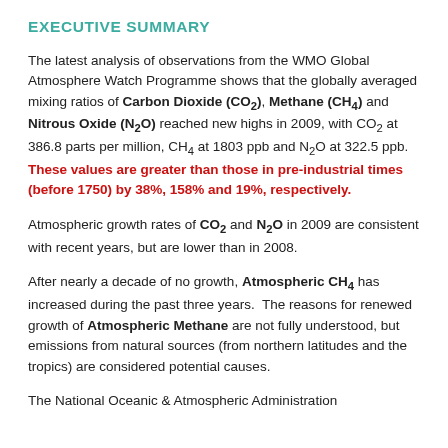EXECUTIVE SUMMARY
The latest analysis of observations from the WMO Global Atmosphere Watch Programme shows that the globally averaged mixing ratios of Carbon Dioxide (CO₂), Methane (CH₄) and Nitrous Oxide (N₂O) reached new highs in 2009, with CO₂ at 386.8 parts per million, CH₄ at 1803 ppb and N₂O at 322.5 ppb. These values are greater than those in pre-industrial times (before 1750) by 38%, 158% and 19%, respectively.
Atmospheric growth rates of CO₂ and N₂O in 2009 are consistent with recent years, but are lower than in 2008.
After nearly a decade of no growth, Atmospheric CH₄ has increased during the past three years. The reasons for renewed growth of Atmospheric Methane are not fully understood, but emissions from natural sources (from northern latitudes and the tropics) are considered potential causes.
The National Oceanic & Atmospheric Administration